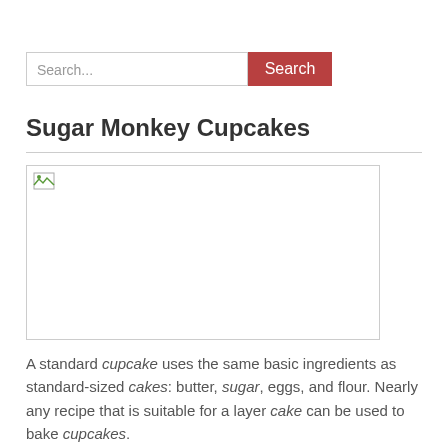[Figure (screenshot): Search bar with text input showing 'Search...' placeholder and a red 'Search' button]
Sugar Monkey Cupcakes
[Figure (photo): Broken image placeholder with small broken image icon in top-left corner]
A standard cupcake uses the same basic ingredients as standard-sized cakes: butter, sugar, eggs, and flour. Nearly any recipe that is suitable for a layer cake can be used to bake cupcakes.